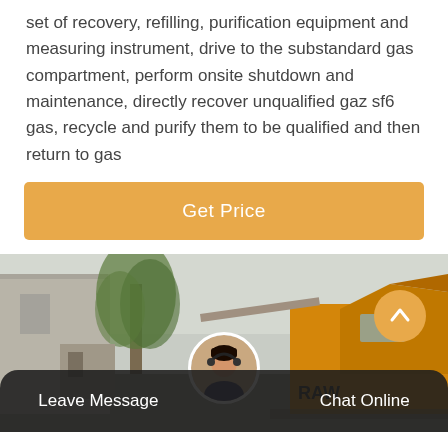set of recovery, refilling, purification equipment and measuring instrument, drive to the substandard gas compartment, perform onsite shutdown and maintenance, directly recover unqualified gaz sf6 gas, recycle and purify them to be qualified and then return to gas
Get Price
[Figure (photo): Outdoor industrial scene showing a yellow truck or heavy equipment vehicle parked near a building, with trees visible in the background and a hazy sky.]
Leave Message   Chat Online